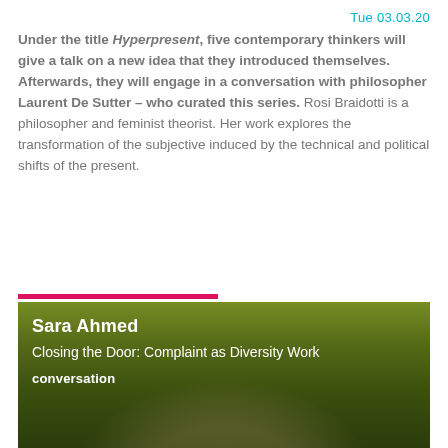Tue 03.03.20
Under the title Hyperpresent, five contemporary thinkers will give a talk on a new idea that they introduced themselves. Afterwards, they will engage in a conversation with philosopher Laurent De Sutter – who curated this series. Rosi Braidotti is a philosopher and feminist theorist. Her work explores the transformation of the subjective induced by the technical and political shifts of the present.
[Figure (photo): Portrait photo of Sara Ahmed against a blurred green leafy background, with overlaid text showing her name and talk title]
Sara Ahmed
Closing the Door: Complaint as Diversity Work
conversation